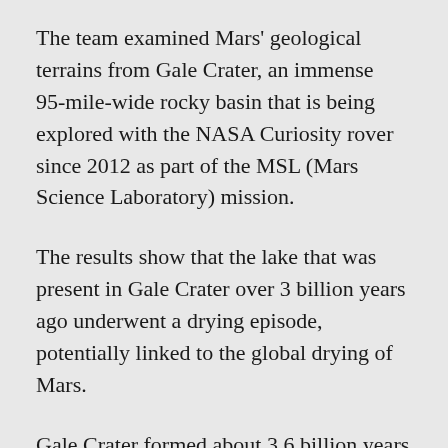The team examined Mars' geological terrains from Gale Crater, an immense 95‑mile‑wide rocky basin that is being explored with the NASA Curiosity rover since 2012 as part of the MSL (Mars Science Laboratory) mission.
The results show that the lake that was present in Gale Crater over 3 billion years ago underwent a drying episode, potentially linked to the global drying of Mars.
Gale Crater formed about 3.6 billion years ago when a meteor hit Mars and created its large impact crater.
“Since then, its geological terrains have